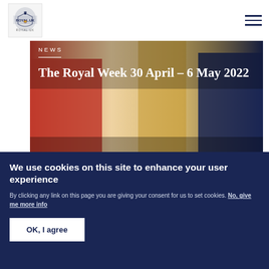Royal.uk – site header with royal crest logo and hamburger menu
[Figure (photo): Hero image showing royal figures in red and navy uniform against ornate background, with NEWS label and article title overlay]
NEWS
The Royal Week 30 April – 6 May 2022
Published 6 May 2022
PRESS RELEASE   6 MAY 2022
We use cookies on this site to enhance your user experience
By clicking any link on this page you are giving your consent for us to set cookies. No, give me more info
OK, I agree